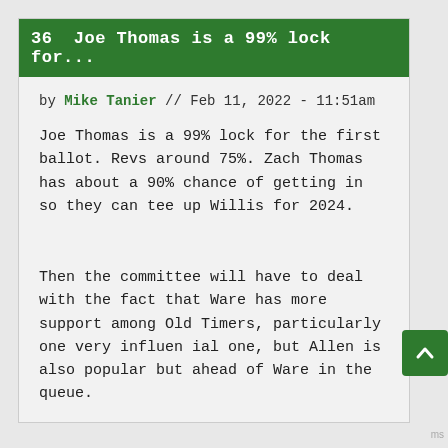36  Joe Thomas is a 99% lock for...
by Mike Tanier // Feb 11, 2022 - 11:51am
Joe Thomas is a 99% lock for the first ballot. Revs around 75%. Zach Thomas has about a 90% chance of getting in so they can tee up Willis for 2024.
Then the committee will have to deal with the fact that Ware has more support among Old Timers, particularly one very influential one, but Allen is also popular but ahead of Ware in the queue.